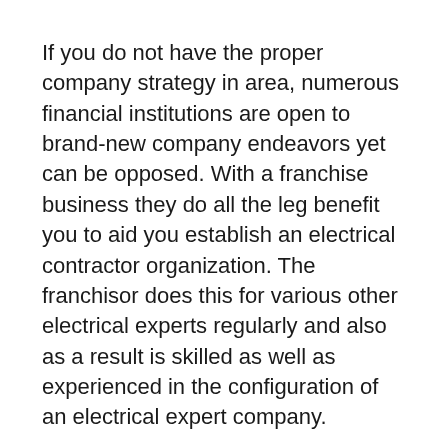If you do not have the proper company strategy in area, numerous financial institutions are open to brand-new company endeavors yet can be opposed. With a franchise business they do all the leg benefit you to aid you establish an electrical contractor organization. The franchisor does this for various other electrical experts regularly and also as a result is skilled as well as experienced in the configuration of an electrical expert company.
Why not begin your very own company via franchising, where electrical contractors can utilize their very own effort however additionally obtain assistance for a range of